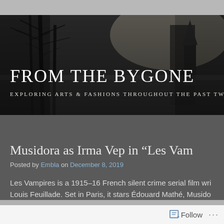[Figure (photo): Black and white photograph of bare winter trees with a church steeple in the background, misty/foggy atmosphere, used as website banner background]
FROM THE BYGONE
EXPLORING ARTS & FASHIONS THROUGHOUT THE PAST TW
MUSIDORA AS IRMA VEP IN "LES VAM
Posted by Embla on December 8, 2019
Les Vampires is a 1915–16 French silent crime serial film wri
Louis Feuillade. Set in Paris, it stars Édouard Mathé, Musido